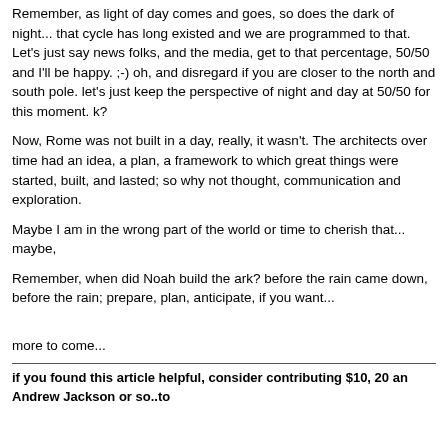Remember, as light of day comes and goes, so does the dark of night... that cycle has long existed and we are programmed to that. Let's just say news folks, and the media, get to that percentage, 50/50 and I'll be happy. ;-) oh, and disregard if you are closer to the north and south pole. let's just keep the perspective of night and day at 50/50 for this moment. k?
Now, Rome was not built in a day, really, it wasn't. The architects over time had an idea, a plan, a framework to which great things were started, built, and lasted; so why not thought, communication and exploration.
Maybe I am in the wrong part of the world or time to cherish that... maybe,
Remember, when did Noah build the ark? before the rain came down, before the rain; prepare, plan, anticipate, if you want...
more to come...
if you found this article helpful, consider contributing $10, 20 an Andrew Jackson or so..to